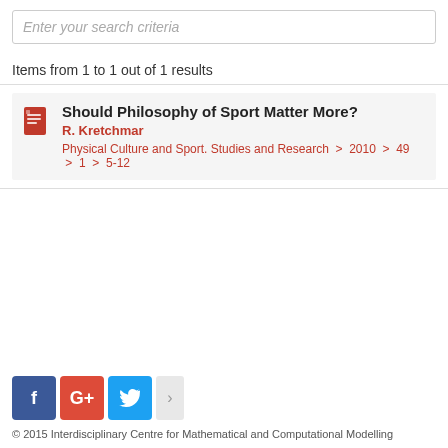Enter your search criteria
Items from 1 to 1 out of 1 results
Should Philosophy of Sport Matter More?
R. Kretchmar
Physical Culture and Sport. Studies and Research > 2010 > 49 > 1 > 5-12
[Figure (other): Social sharing buttons: Facebook, Google+, Twitter, and a more button]
© 2015 Interdisciplinary Centre for Mathematical and Computational Modelling